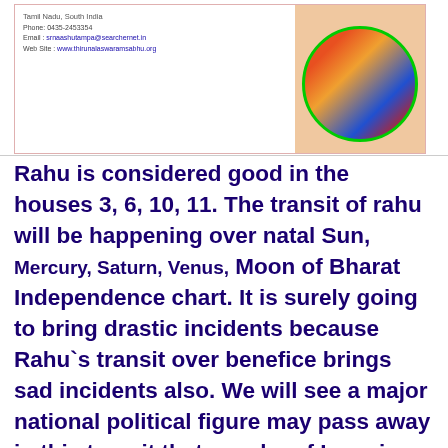[Figure (photo): Header card with contact information text on the left and a circular framed religious/deity image on the right with a green circular border. Text includes: Tamil Nadu, South India, Phone: 0435-2453354, Email: srnaashutampa@searchernet.in, Web Site: www.thirunalaswaramsabhu.org]
Rahu is considered good in the houses 3, 6, 10, 11. The transit of rahu will be happening over natal Sun, Mercury, Saturn, Venus, Moon of Bharat Independence chart. It is surely going to bring drastic incidents because Rahu`s transit over benefice brings sad incidents also. We will see a major national political figure may pass away in this transit that may be of Leo sign or ascendant. Lot of more changes will come in sports , politics ,border tensions , media and film industry.